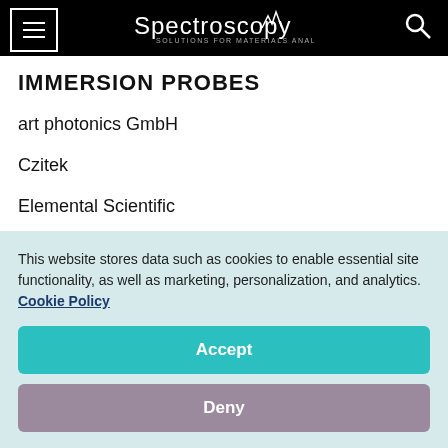Spectroscopy — Solutions for Materials Analysis
IMMERSION PROBES
art photonics GmbH
Czitek
Elemental Scientific
Equitech Intl
Guided W...
This website stores data such as cookies to enable essential site functionality, as well as marketing, personalization, and analytics. Cookie Policy
Accept
Deny